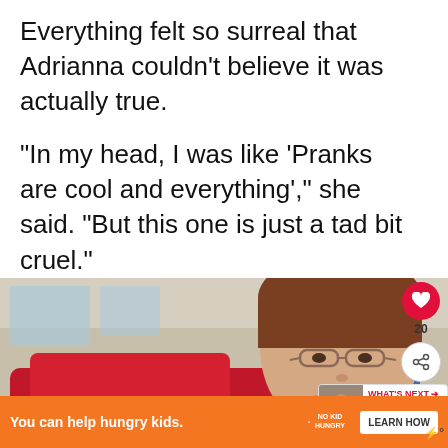Everything felt so surreal that Adrianna couldn't believe it was actually true.
“In my head, I was like ‘Pranks are cool and everything’,” she said. “But this one is just a tad bit cruel.”
[Figure (photo): A woman with short brown hair and glasses smiling in what appears to be a car dealership, with a red car visible in the background. Social media interface overlay elements visible including a heart/like button with count of 20 and a share button. A 'What's Next' panel shows thumbnails. An orange advertisement banner for 'No Kid Hungry' is at the bottom.]